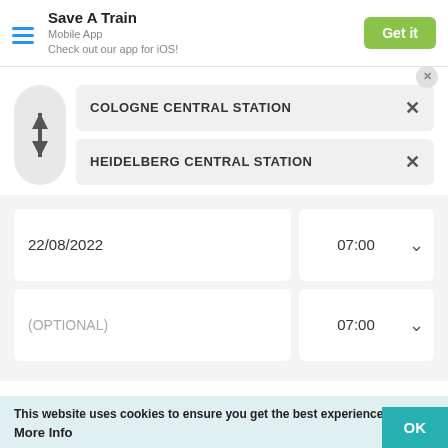Save A Train
Mobile App
Check out our app for iOS!
COLOGNE CENTRAL STATION
HEIDELBERG CENTRAL STATION
22/08/2022
07:00
(OPTIONAL)
07:00
This website uses cookies to ensure you get the best experience.
More Info